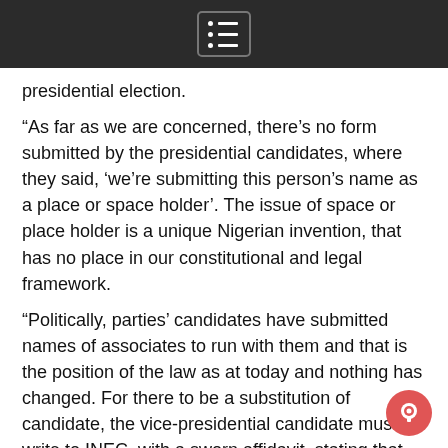[Navigation menu bar]
presidential election.
“As far as we are concerned, there’s no form submitted by the presidential candidates, where they said, ‘we’re submitting this person’s name as a place or space holder’. The issue of space or place holder is a unique Nigerian invention, that has no place in our constitutional and legal framework.
“Politically, parties’ candidates have submitted names of associates to run with them and that is the position of the law as at today and nothing has changed. For there to be a substitution of candidate, the vice-presidential candidate must write to INEC, with a sworn affidavit, stating that he is withdrawing from the race within the time frame provided by the law. That’s the only way there can be a substitution of candidates.”